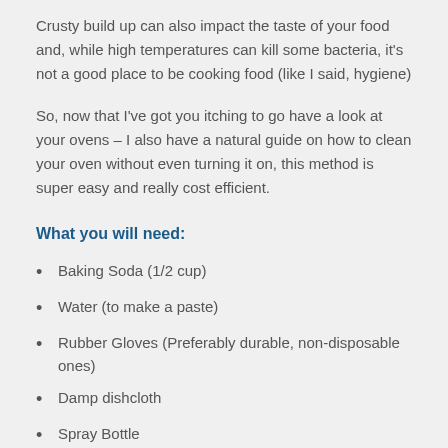Crusty build up can also impact the taste of your food and, while high temperatures can kill some bacteria, it's not a good place to be cooking food (like I said, hygiene)
So, now that I've got you itching to go have a look at your ovens – I also have a natural guide on how to clean your oven without even turning it on, this method is super easy and really cost efficient.
What you will need:
Baking Soda (1/2 cup)
Water (to make a paste)
Rubber Gloves (Preferably durable, non-disposable ones)
Damp dishcloth
Spray Bottle
Vinegar (White)